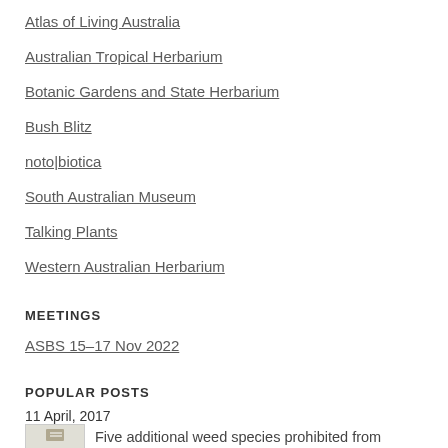Atlas of Living Australia
Australian Tropical Herbarium
Botanic Gardens and State Herbarium
Bush Blitz
noto|biotica
South Australian Museum
Talking Plants
Western Australian Herbarium
MEETINGS
ASBS 15–17 Nov 2022
POPULAR POSTS
11 April, 2017
Five additional weed species prohibited from